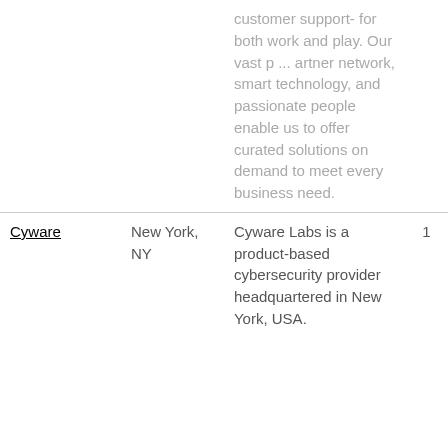| Company | Location | Description |  |
| --- | --- | --- | --- |
|  |  | customer support- for both work and play. Our vast p ... artner network, smart technology, and passionate people enable us to offer curated solutions on demand to meet every business need. |  |
| Cyware | New York, NY | Cyware Labs is a product-based cybersecurity provider headquartered in New York, USA. | 1 |